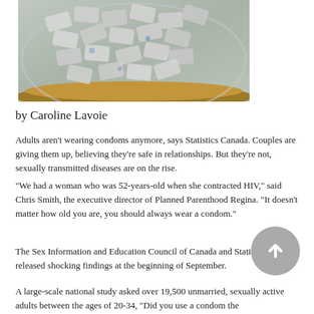[Figure (photo): A glass bowl filled with many individually wrapped condom packets, sitting on a wooden surface.]
by Caroline Lavoie
Adults aren't wearing condoms anymore, says Statistics Canada. Couples are giving them up, believing they're safe in relationships. But they're not, sexually transmitted diseases are on the rise.
“We had a woman who was 52-years-old when she contracted HIV,” said Chris Smith, the executive director of Planned Parenthood Regina. “It doesn’t matter how old you are, you should always wear a condom.”
The Sex Information and Education Council of Canada and Statistics Canada released shocking findings at the beginning of September.
A large-scale national study asked over 19,500 unmarried, sexually active adults between the ages of 20-34, “Did you use a condom the last time you had intercourse?”